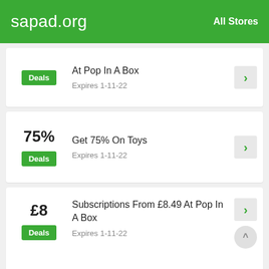sapad.org  All Stores
At Pop In A Box
Expires 1-11-22
Deals
75%
Get 75% On Toys
Expires 1-11-22
Deals
£8
Subscriptions From £8.49 At Pop In A Box
Expires 1-11-22
Deals